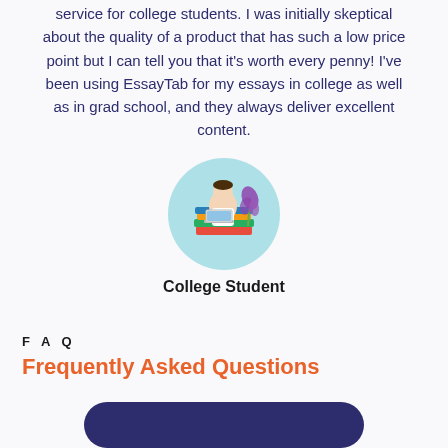service for college students. I was initially skeptical about the quality of a product that has such a low price point but I can tell you that it's worth every penny! I've been using EssayTab for my essays in college as well as in grad school, and they always deliver excellent content.
[Figure (illustration): Circular illustration of a student sitting on a stack of books using a laptop, with a purple plant behind, on a light blue circular background]
College Student
F A Q
Frequently Asked Questions